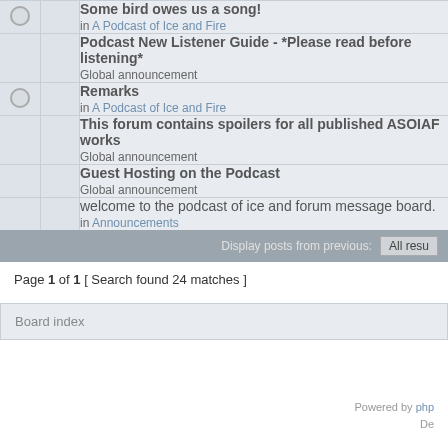Some bird owes us a song! in A Podcast of Ice and Fire
Podcast New Listener Guide - *Please read before listening* Global announcement
Remarks in A Podcast of Ice and Fire
This forum contains spoilers for all published ASOIAF works Global announcement
Guest Hosting on the Podcast Global announcement
welcome to the podcast of ice and forum message board. in Announcements
Display posts from previous: All resu
Page 1 of 1 [ Search found 24 matches ]
Board index
Powered by php De